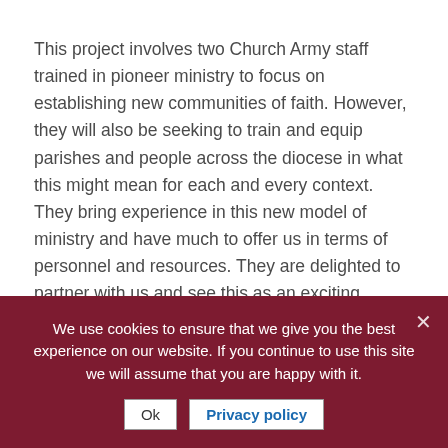This project involves two Church Army staff trained in pioneer ministry to focus on establishing new communities of faith. However, they will also be seeking to train and equip parishes and people across the diocese in what this might mean for each and every context. They bring experience in this new model of ministry and have much to offer us in terms of personnel and resources. They are delighted to partner with us and see this as an exciting development for them and, indeed, for the Church of Ireland.
I certainly believe I can no longer just dream about these things, but we need to step out and see where this journey
We use cookies to ensure that we give you the best experience on our website. If you continue to use this site we will assume that you are happy with it.